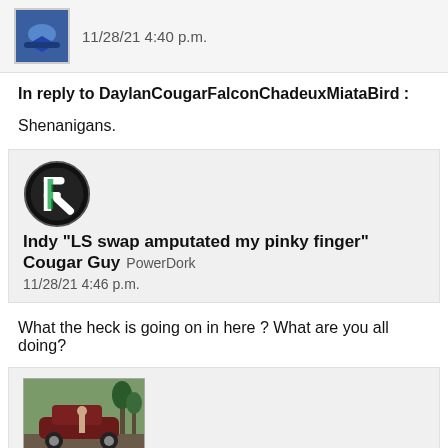11/28/21 4:40 p.m.
In reply to DaylanCougarFalconChadeuxMiataBird :
Shenanigans.
Indy "LS swap amputated my pinky finger" Cougar Guy  PowerDork
11/28/21 4:46 p.m.
What the heck is going on in here ? What are you all doing?
Tbirdsarecoolerthancougarsandmellencamps